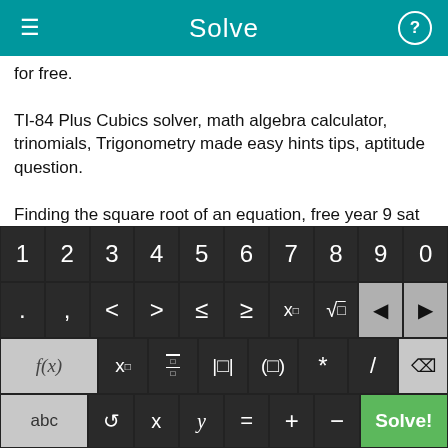Solve
for free.
TI-84 Plus Cubics solver, math algebra calculator, trinomials, Trigonometry made easy hints tips, aptitude question.
Finding the square root of an equation, free year 9 sat work sheets puzzles, problems on quadratic equations worksheets.
Applied Algebra worksheets, photos of algebra symbols, exam help-KS2, free science examination paper for primary one, how-
[Figure (screenshot): Mobile calculator keyboard with numeric row (1-0), symbol row (. , < > ≤ ≥ x□ √□ backspace left/right), function row (f(x) x□ fraction absolute-value parentheses * / delete), and bottom row (abc rotation-symbol x y = + − Solve! button in green)]